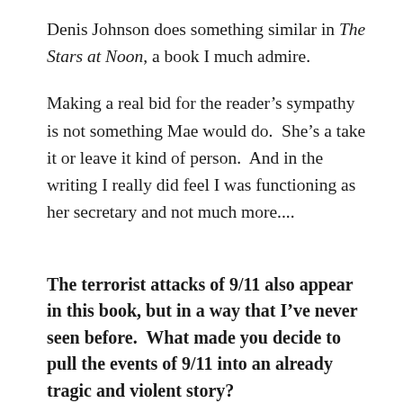Denis Johnson does something similar in The Stars at Noon, a book I much admire.
Making a real bid for the reader's sympathy is not something Mae would do.  She's a take it or leave it kind of person.  And in the writing I really did feel I was functioning as her secretary and not much more....
The terrorist attacks of 9/11 also appear in this book, but in a way that I've never seen before.  What made you decide to pull the events of 9/11 into an already tragic and violent story?